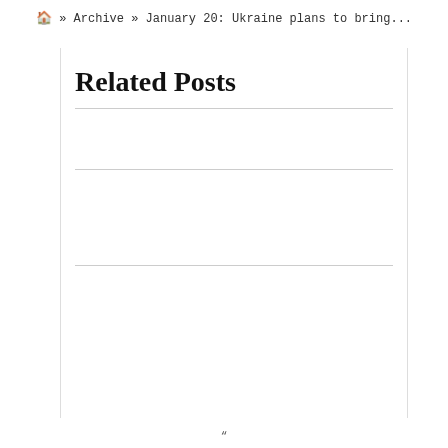🏠 » Archive » January 20: Ukraine plans to bring...
Related Posts
"